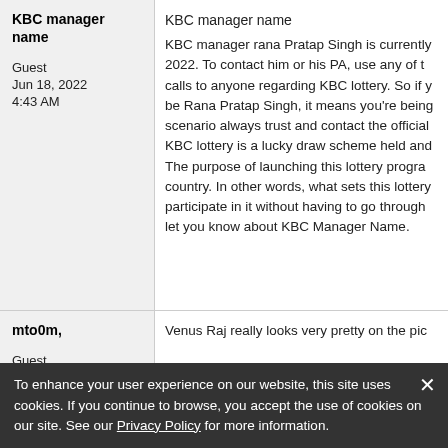KBC manager name
Guest
Jun 18, 2022
4:43 AM
KBC manager name
KBC manager rana Pratap Singh is currently 2022. To contact him or his PA, use any of the calls to anyone regarding KBC lottery. So if you be Rana Pratap Singh, it means you're being scenario always trust and contact the official KBC lottery is a lucky draw scheme held and The purpose of launching this lottery program country. In other words, what sets this lottery participate in it without having to go through let you know about KBC Manager Name.
mto0m,
Guest
Jun 23, 2022
2:42 AM
Venus Raj really looks very pretty on the pic
--
Your blog never ceases to amaze me, it is very
To enhance your user experience on our website, this site uses cookies. If you continue to browse, you accept the use of cookies on our site. See our Privacy Policy for more information.